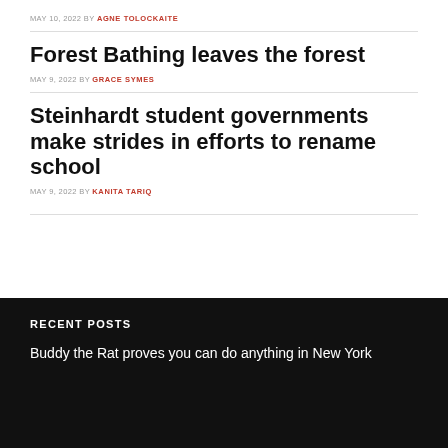MAY 10, 2022 BY AGNE TOLOCKAITE
Forest Bathing leaves the forest
MAY 9, 2022 BY GRACE SYMES
Steinhardt student governments make strides in efforts to rename school
MAY 9, 2022 BY KANITA TARIQ
RECENT POSTS
Buddy the Rat proves you can do anything in New York